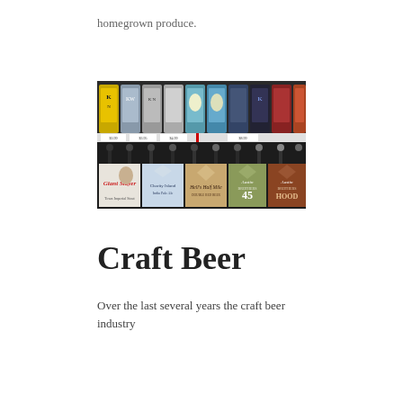homegrown produce.
[Figure (photo): Shelf of craft beer cans on top row and craft beer bottles with branded six-pack carriers on the bottom row, including Giant Slayer, Charity Island India Pale Ale, Hell's Half Mile, Austin Brothers 45, and Austin Brothers Hood.]
Craft Beer
Over the last several years the craft beer industry